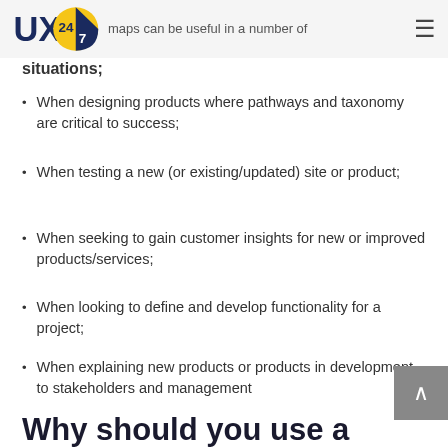UX247 — maps can be useful in a number of situations;
situations;
When designing products where pathways and taxonomy are critical to success;
When testing a new (or existing/updated) site or product;
When seeking to gain customer insights for new or improved products/services;
When looking to define and develop functionality for a project;
When explaining new products or products in development to stakeholders and management
Why should you use a